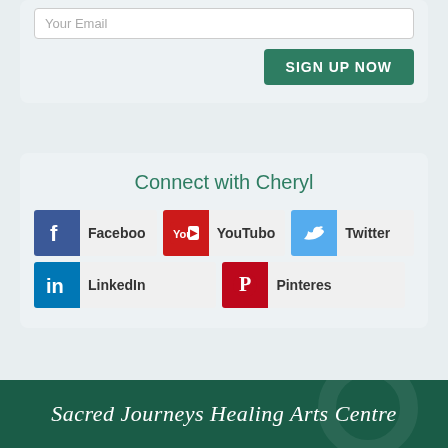Your Email
SIGN UP NOW
Connect with Cheryl
Facebook
YouTube
Twitter
LinkedIn
Pinterest
Sacred Journeys Healing Arts Centre